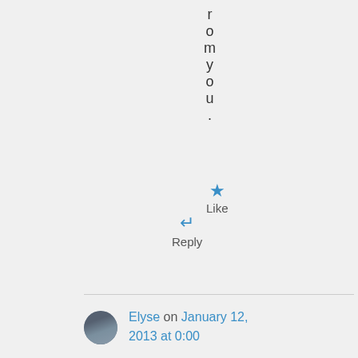r o m y o u .
★ Like
↵ Reply
Elyse on January 12, 2013 at 0:00